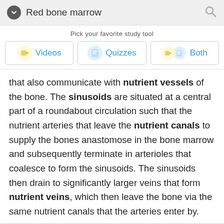Red bone marrow
Pick your favorite study tool
Videos  Quizzes  Both
that also communicate with nutrient vessels of the bone. The sinusoids are situated at a central part of a roundabout circulation such that the nutrient arteries that leave the nutrient canals to supply the bones anastomose in the bone marrow and subsequently terminate in arterioles that coalesce to form the sinusoids. The sinusoids then drain to significantly larger veins that form nutrient veins, which then leave the bone via the same nutrient canals that the arteries enter by.